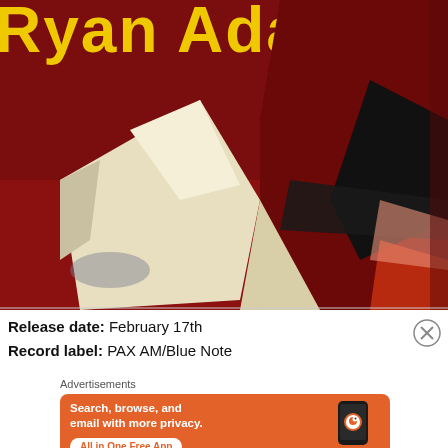[Figure (illustration): Album art for Ryan Adams — partial view showing bold yellow text 'Ryan Adams' partially cropped at top right, with abstract painted artwork in deep red, cream/white, and black brushstrokes below.]
Release date: February 17th
Record label: PAX AM/Blue Note
Advertisements
[Figure (screenshot): DuckDuckGo advertisement banner. Orange background. Text: 'Search, browse, and email with more privacy. All in One Free App'. Shows a smartphone with DuckDuckGo logo and wordmark.]